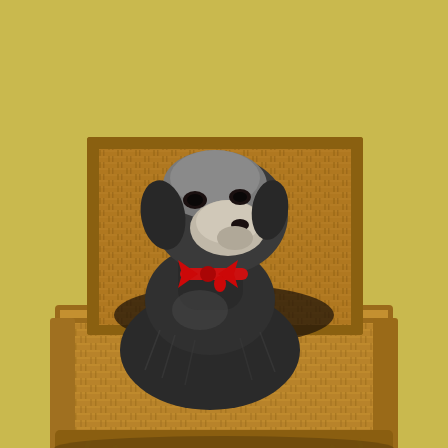[Figure (photo): A small dark-haired dog with a grey-white muzzle and a red collar/bow sits upright inside a large open wicker picnic basket. The basket is rectangular with woven wicker sides and a hinged lid partially visible behind the dog. The background is a muted olive-yellow colour.]